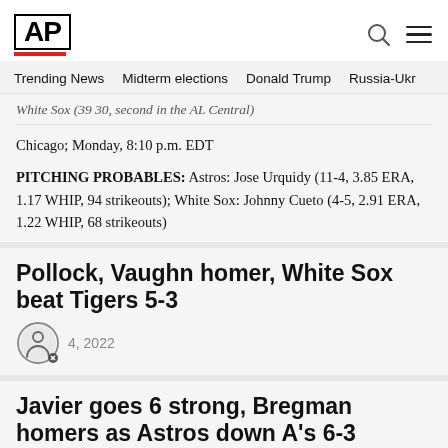AP
Trending News  Midterm elections  Donald Trump  Russia-Ukr
White Sox (39 30, second in the AL Central)
Chicago; Monday, 8:10 p.m. EDT
PITCHING PROBABLES: Astros: Jose Urquidy (11-4, 3.85 ERA, 1.17 WHIP, 94 strikeouts); White Sox: Johnny Cueto (4-5, 2.91 ERA, 1.22 WHIP, 68 strikeouts)
Pollock, Vaughn homer, White Sox beat Tigers 5-3
4, 2022
Javier goes 6 strong, Bregman homers as Astros down A's 6-3